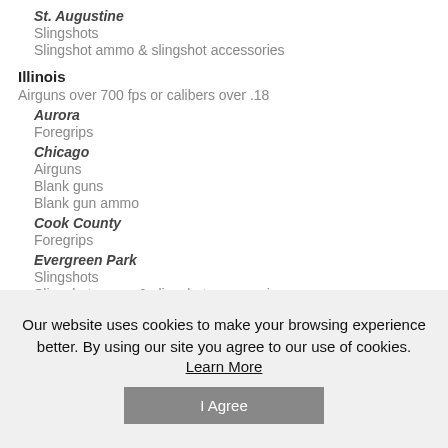St. Augustine
Slingshots
Slingshot ammo & slingshot accessories
Illinois
Airguns over 700 fps or calibers over .18
Aurora
Foregrips
Chicago
Airguns
Blank guns
Blank gun ammo
Cook County
Foregrips
Evergreen Park
Slingshots
Slingshot ammo & slingshot accessories
Our website uses cookies to make your browsing experience better. By using our site you agree to our use of cookies.
Learn More
I Agree